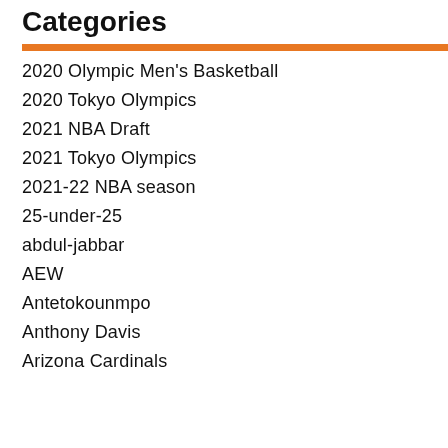Categories
2020 Olympic Men's Basketball
2020 Tokyo Olympics
2021 NBA Draft
2021 Tokyo Olympics
2021-22 NBA season
25-under-25
abdul-jabbar
AEW
Antetokounmpo
Anthony Davis
Arizona Cardinals